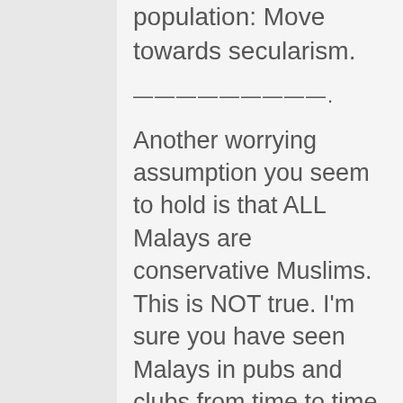population: Move towards secularism.
—————————.
Another worrying assumption you seem to hold is that ALL Malays are conservative Muslims. This is NOT true. I'm sure you have seen Malays in pubs and clubs from time to time. I'm also certain you have heard of Malays breaching intimacy boundaries. My question to you is: How certain are you ALL Malays are (1) Muslims (2)